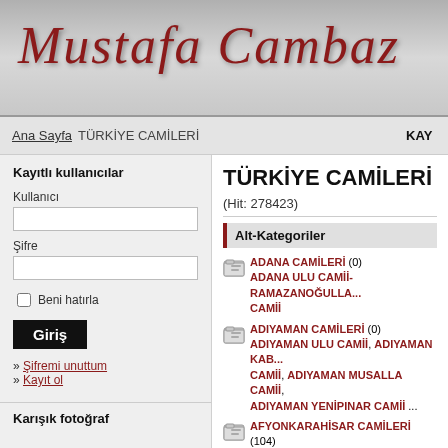[Figure (logo): Mustafa Cambaz script logo in dark red italic on grey gradient background]
Ana Sayfa  TÜRKİYE CAMİLERİ  KAYI...
TÜRKİYE CAMİLERİ
(Hit: 278423)
Alt-Kategoriler
Kayıtlı kullanıcılar
Kullanıcı
Şifre
Beni hatırla
Giriş
» Şifremi unuttum
» Kayıt ol
Karışık fotoğraf
ADANA CAMİLERİ (0)
ADANA ULU CAMİİ- RAMAZANOĞULLARI CAMİİ
ADIYAMAN CAMİLERİ (0)
ADIYAMAN ULU CAMİİ, ADIYAMAN KABACA CAMİİ, ADIYAMAN MUSALLA CAMİİ, ADIYAMAN YENİPINAR CAMİİ ...
AFYONKARAHİSAR CAMİLERİ (104)
AFYON ADEYZE CAMİİ, AFYON AKOSMANOĞLU CAMİİ, AFYON ARAP D... CAMİİ, AFYON ARASTA CAMİİ ...
AĞRI CAMİLERİ (55)
AHMEDİ HANİ TÜRBESİ VE CAMİİ, ESKİ BEYAZIT CAMİİ, İSHAK PAŞA SARAYI VE... CAMİİ
AKSARAY CAMİLERİ (48)